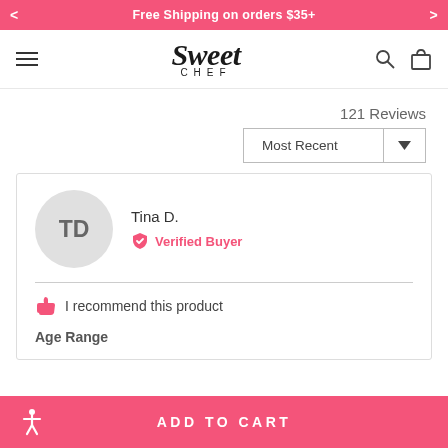Free Shipping on orders $35+
[Figure (logo): Sweet Chef brand logo with script 'Sweet' and letterspaced 'CHEF' below]
121 Reviews
Most Recent
Tina D.
Verified Buyer
I recommend this product
Age Range
ADD TO CART